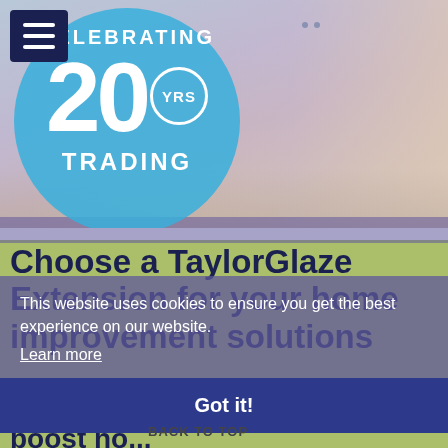[Figure (photo): Hero image of a couple in a living room, with a blue circular badge overlay showing 'CELEBRATING 20 YRS TRADING']
Choose a TaylorGlaze Extension for your home improvement solutions
This website uses cookies to ensure you get the best experience on our website.
Learn more
Got it!
Create extra living space and boost ho... your home with a TaylorGlaze...
BACK TO TOP